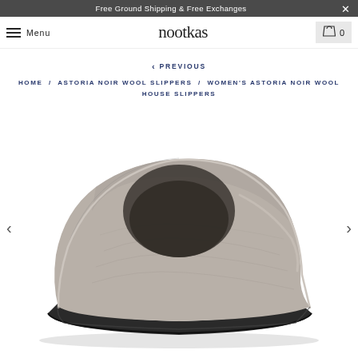Free Ground Shipping & Free Exchanges
Menu | nootkas | Cart 0
< PREVIOUS
HOME / ASTORIA NOIR WOOL SLIPPERS / WOMEN'S ASTORIA NOIR WOOL HOUSE SLIPPERS
[Figure (photo): Side view of a grey felted wool house slipper (clog style) with a dark rubber sole, shown against a white background. Navigation arrows visible on left and right sides.]